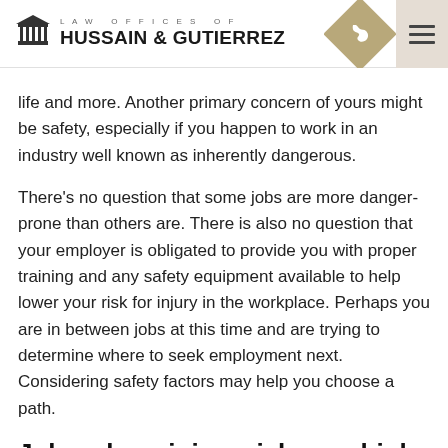LAW OFFICES OF HUSSAIN & GUTIERREZ
life and more. Another primary concern of yours might be safety, especially if you happen to work in an industry well known as inherently dangerous.
There's no question that some jobs are more danger-prone than others are. There is also no question that your employer is obligated to provide you with proper training and any safety equipment available to help lower your risk for injury in the workplace. Perhaps you are in between jobs at this time and are trying to determine where to seek employment next. Considering safety factors may help you choose a path.
Jobs where injury risks are high